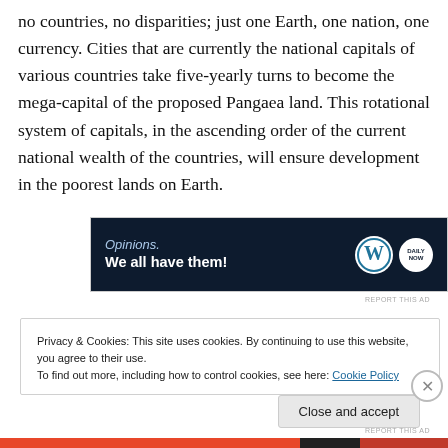no countries, no disparities; just one Earth, one nation, one currency. Cities that are currently the national capitals of various countries take five-yearly turns to become the mega-capital of the proposed Pangaea land. This rotational system of capitals, in the ascending order of the current national wealth of the countries, will ensure development in the poorest lands on Earth.
[Figure (other): Advertisement banner with dark navy background showing 'Opinions. We all have them!' text with WordPress and Daily Now logos]
REPORT THIS AD
Privacy & Cookies: This site uses cookies. By continuing to use this website, you agree to their use.
To find out more, including how to control cookies, see here: Cookie Policy
Close and accept